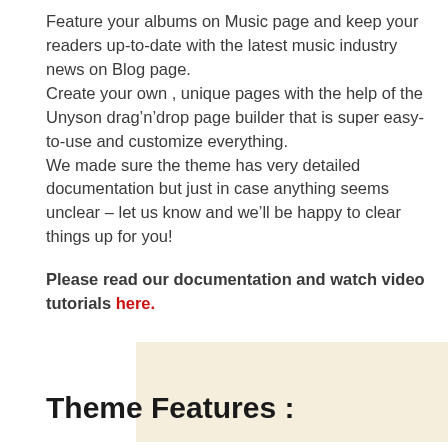Feature your albums on Music page and keep your readers up-to-date with the latest music industry news on Blog page.
Create your own , unique pages with the help of the Unyson drag’n’drop page builder that is super easy-to-use and customize everything.
We made sure the theme has very detailed documentation but just in case anything seems unclear – let us know and we’ll be happy to clear things up for you!
Please read our documentation and watch video tutorials here.
[Figure (other): Beige/cream colored rectangular box placeholder]
Theme Features :